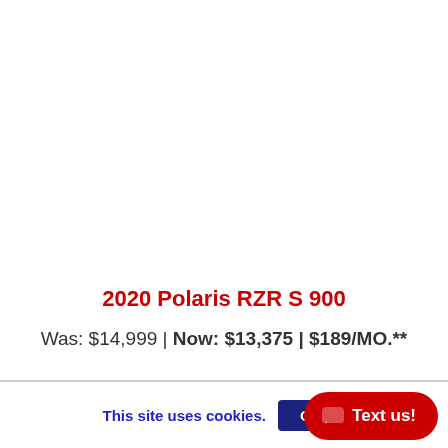2020 Polaris RZR S 900
Was: $14,999 | Now: $13,375 | $189/MO.**
This site uses cookies.
OK
Text us!